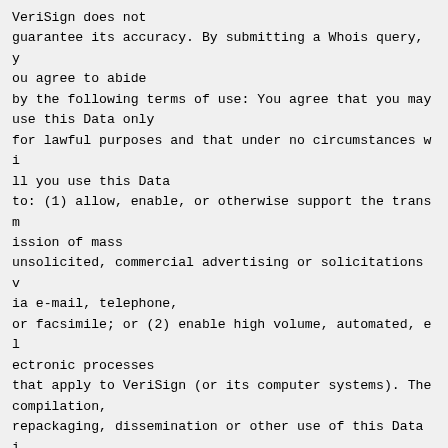VeriSign does not guarantee its accuracy. By submitting a Whois query, you agree to abide by the following terms of use: You agree that you may use this Data only for lawful purposes and that under no circumstances will you use this Data to: (1) allow, enable, or otherwise support the transmission of mass unsolicited, commercial advertising or solicitations via e-mail, telephone, or facsimile; or (2) enable high volume, automated, electronic processes that apply to VeriSign (or its computer systems). The compilation, repackaging, dissemination or other use of this Data is expressly prohibited without the prior written consent of VeriSign. You agree not to use electronic processes that are automated and high-volume to access or query the Whois database except as reasonably necessar